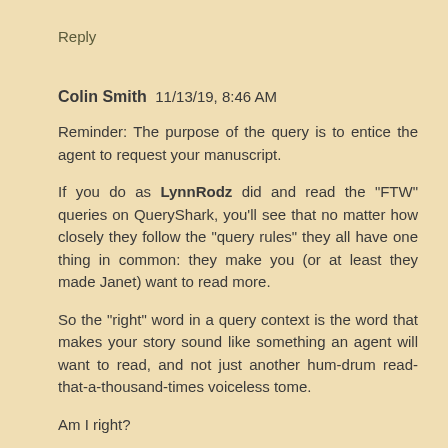Reply
Colin Smith  11/13/19, 8:46 AM
Reminder: The purpose of the query is to entice the agent to request your manuscript.
If you do as LynnRodz did and read the "FTW" queries on QueryShark, you'll see that no matter how closely they follow the "query rules" they all have one thing in common: they make you (or at least they made Janet) want to read more.
So the "right" word in a query context is the word that makes your story sound like something an agent will want to read, and not just another hum-drum read-that-a-thousand-times voiceless tome.
Am I right?
Julie: "Cheque" is not archaic. It's how the Brits spell it. In